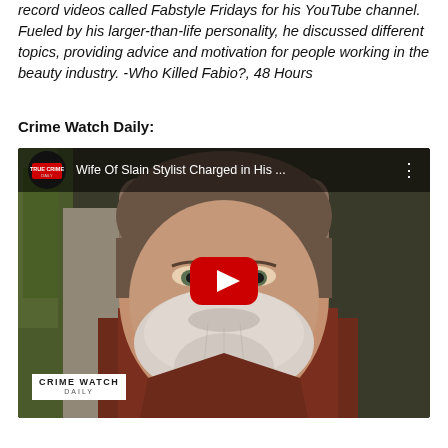record videos called Fabstyle Fridays for his YouTube channel. Fueled by his larger-than-life personality, he discussed different topics, providing advice and motivation for people working in the beauty industry. -Who Killed Fabio?, 48 Hours
Crime Watch Daily:
[Figure (screenshot): YouTube video embed showing a man with a white beard wearing a dark red shirt. The video is from True Crime Daily channel titled 'Wife Of Slain Stylist Charged in His ...' with a red play button in the center and a 'Crime Watch Daily' watermark in the bottom left.]